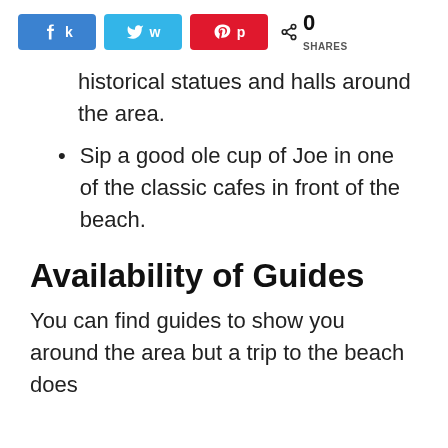Share buttons: Facebook, Twitter, Pinterest | 0 SHARES
historical statues and halls around the area.
Sip a good ole cup of Joe in one of the classic cafes in front of the beach.
Availability of Guides
You can find guides to show you around the area but a trip to the beach does